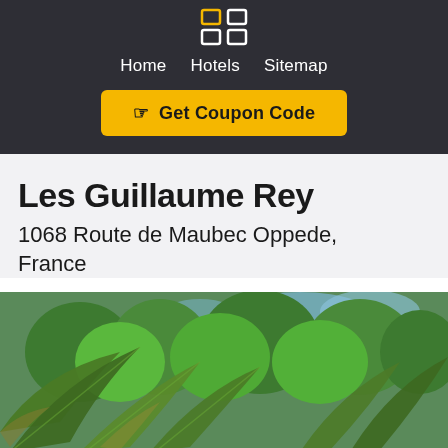Home   Hotels   Sitemap
Get Coupon Code
Les Guillaume Rey
1068 Route de Maubec Oppede, France
[Figure (photo): Outdoor garden photo with large tropical/palm leaves in the foreground and lush green trees in the background under a blue sky]